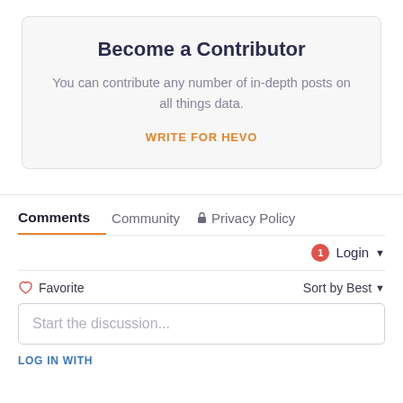Become a Contributor
You can contribute any number of in-depth posts on all things data.
WRITE FOR HEVO
Comments   Community   🔒 Privacy Policy
1   Login ▾
♡ Favorite   Sort by Best ▾
Start the discussion...
LOG IN WITH